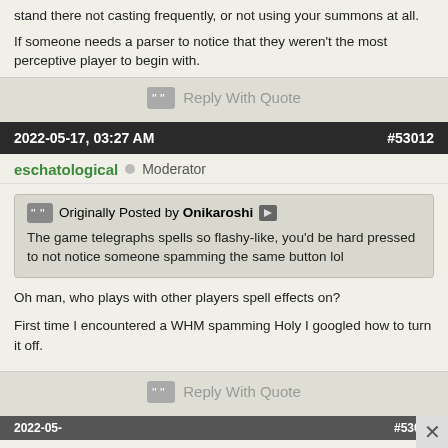stand there not casting frequently, or not using your summons at all.
If someone needs a parser to notice that they weren't the most perceptive player to begin with.
Reply With Quote
2022-05-17, 03:27 AM   #53012
eschatological   Moderator
Originally Posted by Onikaroshi
The game telegraphs spells so flashy-like, you'd be hard pressed to not notice someone spamming the same button lol
Oh man, who plays with other players spell effects on?

First time I encountered a WHM spamming Holy I googled how to turn it off.
Reply With Quote
2022-05-  #53013
Onikard
[Figure (screenshot): Advertisement banner for Macy's: KISS BORING LIPS GOODBYE with SHOP NOW button and Macy's star logo, featuring a woman's face]